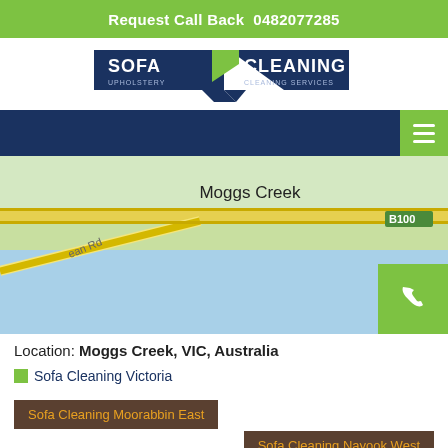Request Call Back  0482077285
[Figure (logo): Sofa / Cleaning - Upholstery / Cleaning Services logo with navy blue pennant shapes and green chevron]
[Figure (map): Google Maps screenshot showing Moggs Creek, VIC, Australia with road B100 and Ocean Rd visible, blue water area, location pin marker]
Location: Moggs Creek, VIC, Australia
Sofa Cleaning Victoria
Sofa Cleaning Moorabbin East
Sofa Cleaning Nayook West
Contact Us